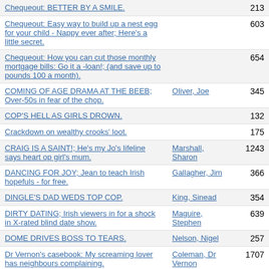| Title | Author | Page |
| --- | --- | --- |
| Chequeout: BETTER BY A SMILE. |  | 213 |
| Chequeout: Easy way to build up a nest egg for your child - Nappy ever after; Here's a little secret. |  | 603 |
| Chequeout: How you can cut those monthly mortgage bills: Go it a -loan!; (and save up to pounds 100 a month). |  | 654 |
| COMING OF AGE DRAMA AT THE BEEB; Over-50s in fear of the chop. | Oliver, Joe | 345 |
| COP'S HELL AS GIRLS DROWN. |  | 132 |
| Crackdown on wealthy crooks' loot. |  | 175 |
| CRAIG IS A SAINT!; He's my Jo's lifeline says heart op girl's mum. | Marshall, Sharon | 1243 |
| DANCING FOR JOY; Jean to teach Irish hopefuls - for free. | Gallagher, Jim | 366 |
| DINGLE'S DAD WEDS TOP COP. | King, Sinead | 354 |
| DIRTY DATING; Irish viewers in for a shock in X-rated blind date show. | Maguire, Stephen | 639 |
| DOME DRIVES BOSS TO TEARS. | Nelson, Nigel | 257 |
| Dr Vernon's casebook: My screaming lover has neighbours complaining. | Coleman, Dr Vernon | 1707 |